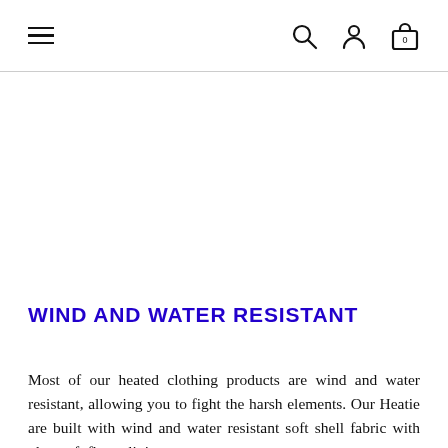≡  🔍  👤  🛍 0
WIND AND WATER RESISTANT
Most of our heated clothing products are wind and water resistant, allowing you to fight the harsh elements. Our Heatie are built with wind and water resistant soft shell fabric with ultra soft fleece lining.